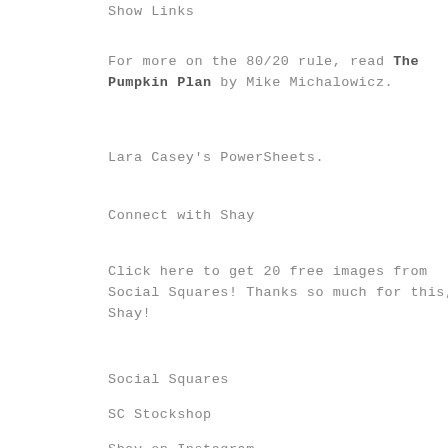Show Links
For more on the 80/20 rule, read The Pumpkin Plan by Mike Michalowicz.
Lara Casey's PowerSheets.
Connect with Shay
Click here to get 20 free images from Social Squares! Thanks so much for this, Shay!
Social Squares
SC Stockshop
Shay on Instagram